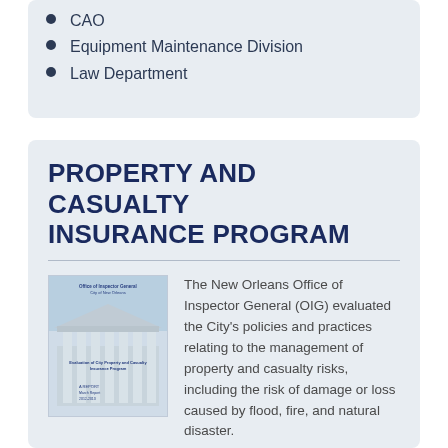CAO
Equipment Maintenance Division
Law Department
PROPERTY AND CASUALTY INSURANCE PROGRAM
[Figure (photo): Cover image of the Evaluation of City Property and Casualty Insurance Program report, showing a government building with columns.]
The New Orleans Office of Inspector General (OIG) evaluated the City's policies and practices relating to the management of property and casualty risks, including the risk of damage or loss caused by flood, fire, and natural disaster. The objectives of th ...